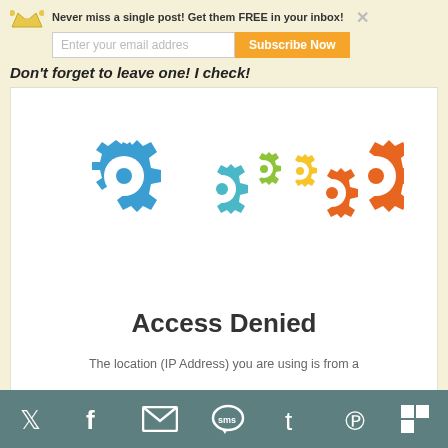Never miss a single post! Get them FREE in your inbox!
Enter your email addres
Subscribe Now
Don't forget to leave one! I check!
[Figure (illustration): Colorful gear icons: large blue gear, medium teal gear, small green gear, small yellow gear, medium orange gear, large orange gear arranged in a row]
Access Denied
The location (IP Address) you are using is from a
Twitter, Facebook, Email, SMS, Tumblr, Pinterest, Flipboard social share icons